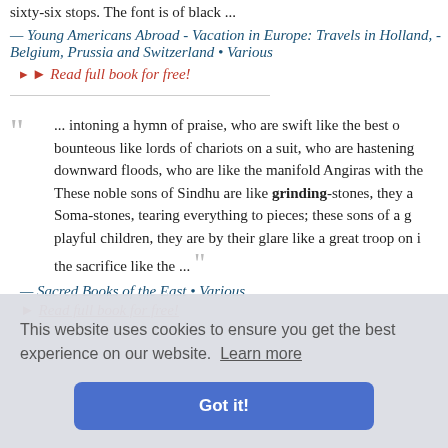sixty-six stops. The font is of black ...
— Young Americans Abroad - Vacation in Europe: Travels in Holland, - Belgium, Prussia and Switzerland • Various
Read full book for free!
... intoning a hymn of praise, who are swift like the best of bounteous like lords of chariots on a suit, who are hastening downward floods, who are like the manifold Angiras with the These noble sons of Sindhu are like grinding-stones, they a Soma-stones, tearing everything to pieces; these sons of a playful children, they are by their glare like a great troop on i the sacrifice like the ...
— Sacred Books of the East • Various
Read full book for free!
This website uses cookies to ensure you get the best experience on our website. Learn more
Got it!